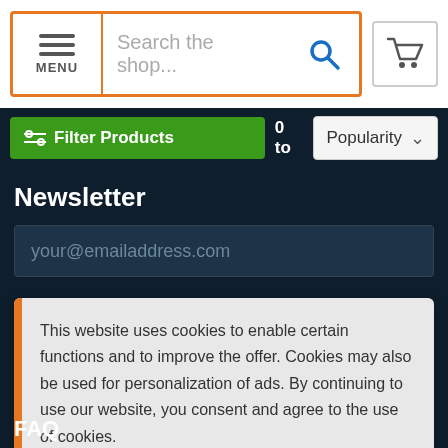[Figure (screenshot): Website navigation bar with hamburger MENU button and search field with orange border, plus cart icon]
[Figure (screenshot): Green Filter Products button and Popularity sort dropdown]
Newsletter
your@emailaddress.com
This website uses cookies to enable certain functions and to improve the offer. Cookies may also be used for personalization of ads. By continuing to use our website, you consent and agree to the use of cookies.
More information
Agree
FAQ